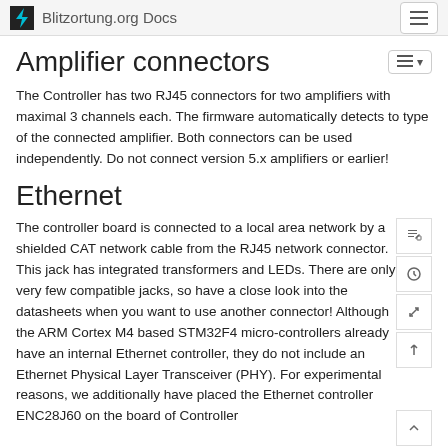Blitzortung.org Docs
Amplifier connectors
The Controller has two RJ45 connectors for two amplifiers with maximal 3 channels each. The firmware automatically detects to type of the connected amplifier. Both connectors can be used independently. Do not connect version 5.x amplifiers or earlier!
Ethernet
The controller board is connected to a local area network by a shielded CAT network cable from the RJ45 network connector. This jack has integrated transformers and LEDs. There are only very few compatible jacks, so have a close look into the datasheets when you want to use another connector! Although the ARM Cortex M4 based STM32F4 micro-controllers already have an internal Ethernet controller, they do not include an Ethernet Physical Layer Transceiver (PHY). For experimental reasons, we additionally have placed the Ethernet controller ENC28J60 on the board of Controller